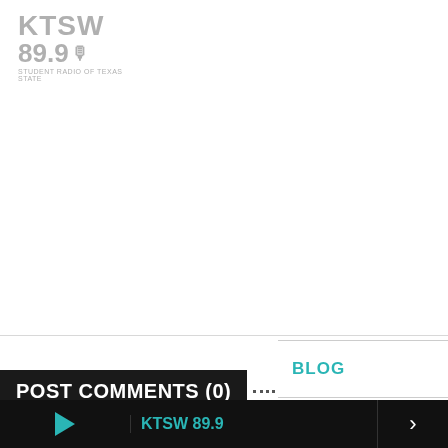[Figure (logo): KTSW 89.9 radio station logo in gray]
POST COMMENTS (0)
BLOG
CONTACT
ABOUT US
Leave a Reply
Enter your comment here...
KTSW 89.9